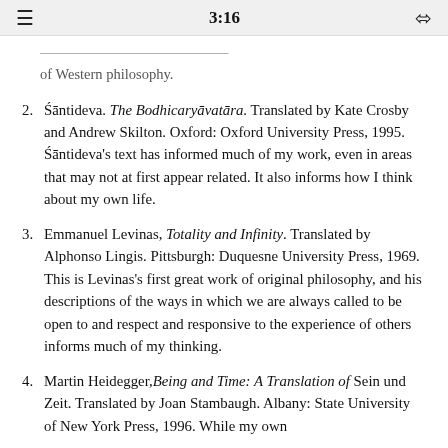3:16
of Western philosophy.
2. Śāntideva. The Bodhicaryāvatāra. Translated by Kate Crosby and Andrew Skilton. Oxford: Oxford University Press, 1995. Śāntideva's text has informed much of my work, even in areas that may not at first appear related. It also informs how I think about my own life.
3. Emmanuel Levinas, Totality and Infinity. Translated by Alphonso Lingis. Pittsburgh: Duquesne University Press, 1969. This is Levinas's first great work of original philosophy, and his descriptions of the ways in which we are always called to be open to and respect and responsive to the experience of others informs much of my thinking.
4. Martin Heidegger, Being and Time: A Translation of Sein und Zeit. Translated by Joan Stambaugh. Albany: State University of New York Press, 1996. While my own